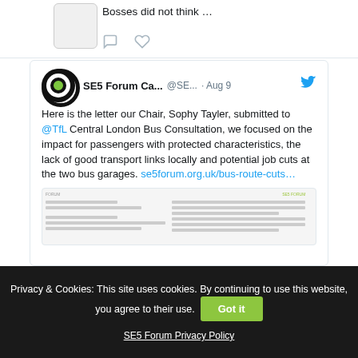Bosses did not think …
[Figure (screenshot): Partial tweet card showing 'Bosses did not think ...' text with comment and like icons below]
[Figure (screenshot): SE5 Forum Ca... @SE... · Aug 9 tweet with Twitter bird icon. Text: Here is the letter our Chair, Sophy Tayler, submitted to @TfL Central London Bus Consultation, we focused on the impact for passengers with protected characteristics, the lack of good transport links locally and potential job cuts at the two bus garages. se5forum.org.uk/bus-route-cuts… with preview image of a document]
Privacy & Cookies: This site uses cookies. By continuing to use this website, you agree to their use.
Got it
SE5 Forum Privacy Policy